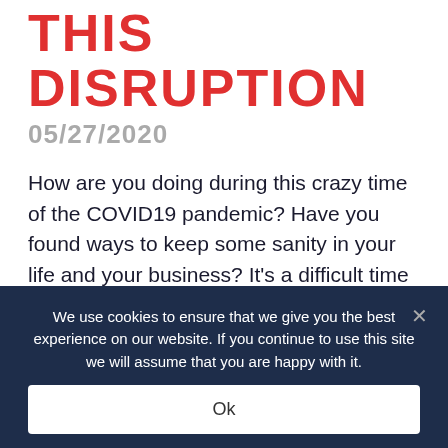THIS DISRUPTION
05/27/2020
How are you doing during this crazy time of the COVID19 pandemic? Have you found ways to keep some sanity in your life and your business? It's a difficult time for so many, but life keeps forging ahead… have you been able to find new motivation or small wins in your days and weeks?
We use cookies to ensure that we give you the best experience on our website. If you continue to use this site we will assume that you are happy with it.
Ok